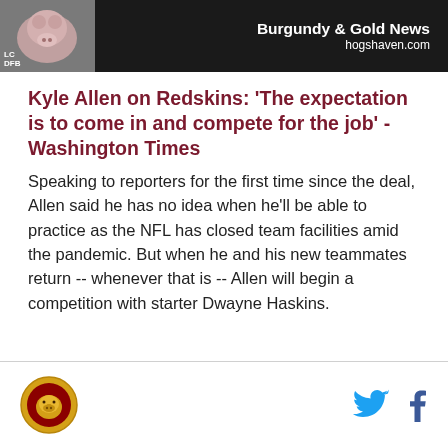Burgundy & Gold News | hogshaven.com
Kyle Allen on Redskins: 'The expectation is to come in and compete for the job' - Washington Times
Speaking to reporters for the first time since the deal, Allen said he has no idea when he'll be able to practice as the NFL has closed team facilities amid the pandemic. But when he and his new teammates return -- whenever that is -- Allen will begin a competition with starter Dwayne Haskins.
hogshaven.com logo, Twitter icon, Facebook icon